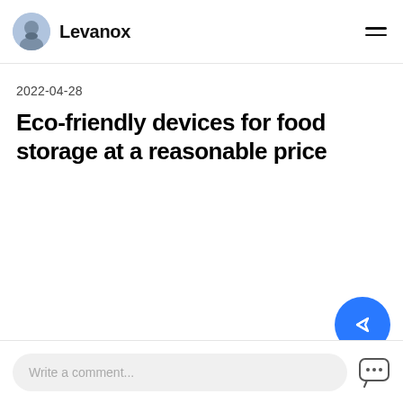Levanox
2022-04-28
Eco-friendly devices for food storage at a reasonable price